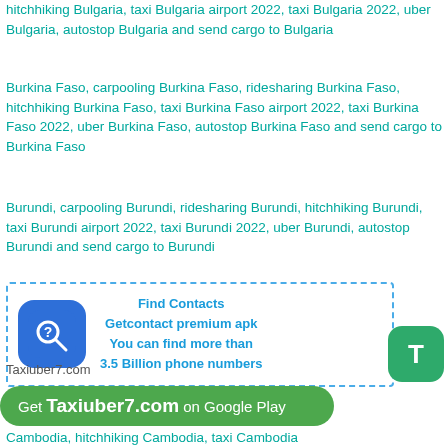hitchhiking Bulgaria, taxi Bulgaria airport 2022, taxi Bulgaria 2022, uber Bulgaria, autostop Bulgaria and send cargo to Bulgaria
Burkina Faso, carpooling Burkina Faso, ridesharing Burkina Faso, hitchhiking Burkina Faso, taxi Burkina Faso airport 2022, taxi Burkina Faso 2022, uber Burkina Faso, autostop Burkina Faso and send cargo to Burkina Faso
Burundi, carpooling Burundi, ridesharing Burundi, hitchhiking Burundi, taxi Burundi airport 2022, taxi Burundi 2022, uber Burundi, autostop Burundi and send cargo to Burundi
C
[Figure (infographic): Advertisement box with dashed blue border, Getcontact app icon (blue rounded square with phone and question mark), text: Find Contacts, Getcontact premium apk, You can find more than 3.5 Billion phone numbers]
Taxiuber7.com
Get Taxiuber7.com on Google Play
Cambodia, hitchhiking Cambodia, taxi Cambodia